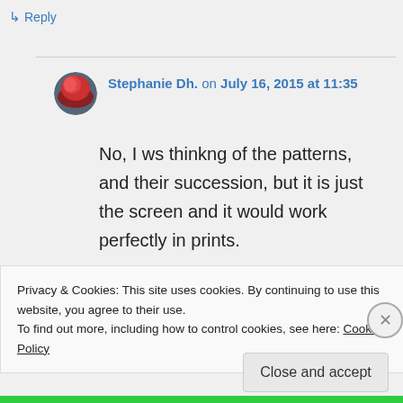↳ Reply
Stephanie Dh. on July 16, 2015 at 11:35
No, I ws thinkng of the patterns, and their succession, but it is just the screen and it would work perfectly in prints.
Privacy & Cookies: This site uses cookies. By continuing to use this website, you agree to their use.
To find out more, including how to control cookies, see here: Cookie Policy
Close and accept